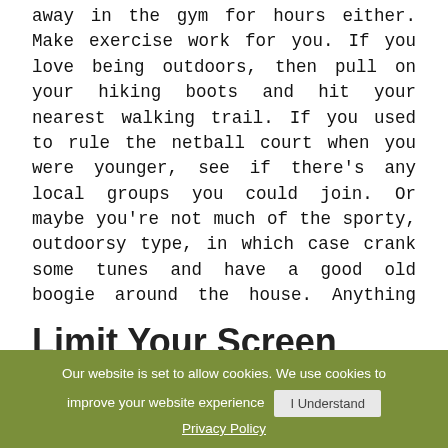This doesn't mean you have to be slogging away in the gym for hours either. Make exercise work for you. If you love being outdoors, then pull on your hiking boots and hit your nearest walking trail. If you used to rule the netball court when you were younger, see if there's any local groups you could join. Or maybe you're not much of the sporty, outdoorsy type, in which case crank some tunes and have a good old boogie around the house. Anything that gets you moving is good for you, it's up to you what that is.
Limit Your Screen Time
Our website is set to allow cookies. We use cookies to improve your website experience
I Understand
Privacy Policy